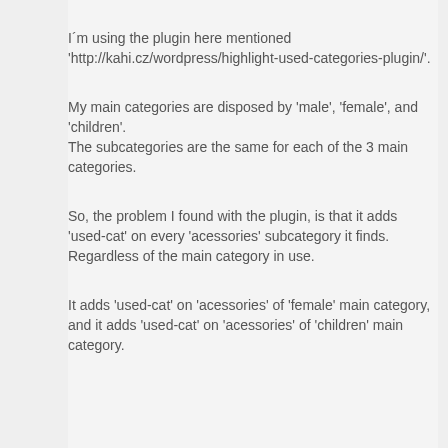I´m using the plugin here mentioned 'http://kahi.cz/wordpress/highlight-used-categories-plugin/'.
My main categories are disposed by 'male', 'female', and 'children'.
The subcategories are the same for each of the 3 main categories.
So, the problem I found with the plugin, is that it adds 'used-cat' on every 'acessories' subcategory it finds. Regardless of the main category in use.
It adds 'used-cat' on 'acessories' of 'female' main category, and it adds 'used-cat' on 'acessories' of 'children' main category.